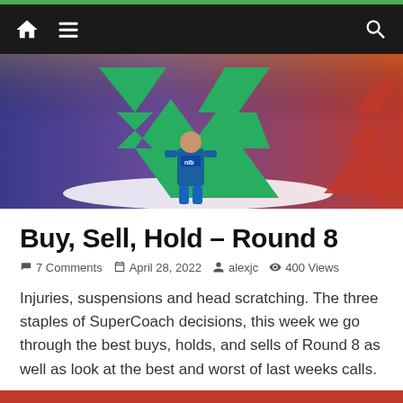Navigation bar with home, menu, and search icons
[Figure (illustration): Hero banner image showing green and red 3D arrow charts (stock market style arrows going up and down) with a rugby league player wearing a Newcastle Knights jersey (nib sponsor) on a blue-to-red gradient background]
Buy, Sell, Hold – Round 8
7 Comments  April 28, 2022  alexjc  400 Views
Injuries, suspensions and head scratching. The three staples of SuperCoach decisions, this week we go through the best buys, holds, and sells of Round 8 as well as look at the best and worst of last weeks calls.